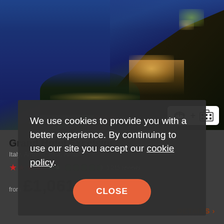[Figure (photo): Night-time aerial photo of Grand Hotel Excelsior on the Amalfi coast cliffside, illuminated hotel buildings against a deep blue sea]
Grand Hotel Excelsior
Italy, Amalfi Coast, Amalfi
★★★★  [TripAdvisor logo] ●●●●◐  1,215 reviews
from £1,061 per person
DETAILS >
We use cookies to provide you with a better experience. By continuing to use our site you accept our cookie policy.
CLOSE